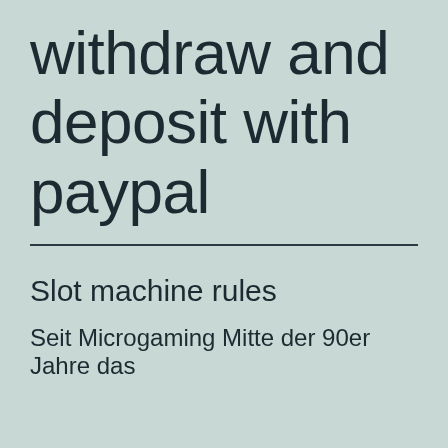withdraw and deposit with paypal
Slot machine rules
Seit Microgaming Mitte der 90er Jahre das